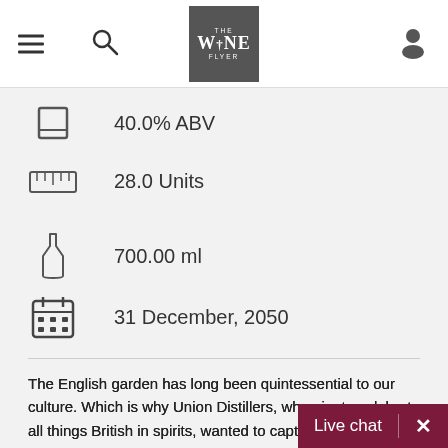The Wine Flyer — navigation header with hamburger menu, search, logo, and user icon
40.0% ABV
28.0 Units
700.00 ml
31 December, 2050
The English garden has long been quintessential to our culture. Which is why Union Distillers, who aim to celebrate all things British in spirits, wanted to capture this taste of England in a bottle. Union Distillers was founded in 2013 by engineer and gin enthusiast Mark Gamble. Often found tinkering away in his workshop, it was only a matter of time before Mark combined his two loves – and so 'Gerard', the bespoke copper s…